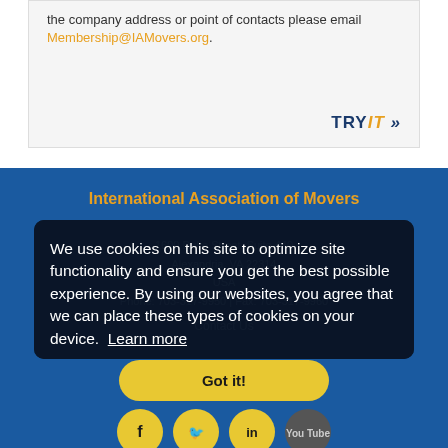the company address or point of contacts please email Membership@IAMovers.org.
TRY IT »
International Association of Movers
1600 Duke Street, Suite 440
Alexandria, VA 22314
USA
Phone: 703-317-9950 | Fax: 703-317-9960
Contact Us
We use cookies on this site to optimize site functionality and ensure you get the best possible experience. By using our websites, you agree that we can place these types of cookies on your device. Learn more
Got it!